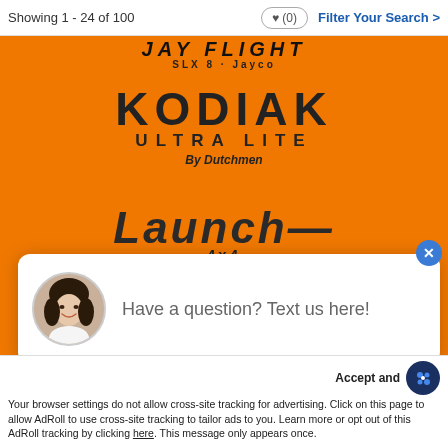Showing 1 - 24 of 100   ♥ (0)   Filter Your Search >
[Figure (screenshot): Orange branded RV/trailer advertisement banner showing multiple logos: Jay Flight SLX by Jayco (partially visible at top), Kodiak Ultra Lite by Dutchmen (center), Launch 4x4 (lower center), and Lithium (partially visible at bottom). Orange background throughout.]
[Figure (photo): Chat popup overlay with a circular avatar photo of a smiling woman with dark hair, white background card, text reading 'Have a question? Text us here!' with a blue X close button.]
Have a question? Text us here!
Accept and
Your browser settings do not allow cross-site tracking for advertising. Click on this page to allow AdRoll to use cross-site tracking to tailor ads to you. Learn more or opt out of this AdRoll tracking by clicking here. This message only appears once.